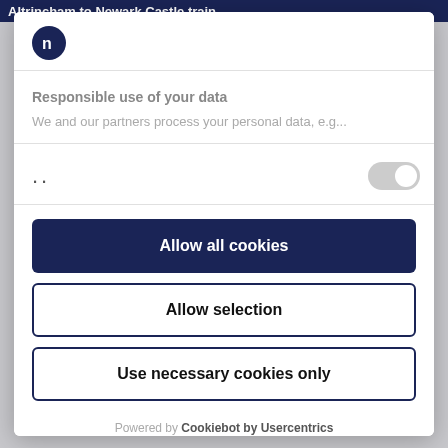Altrincham to Newark Castle train
[Figure (logo): Circular dark navy logo with white 'n' letter]
Responsible use of your data
We and our partners process your personal data, e.g...
..
Allow all cookies
Allow selection
Use necessary cookies only
Powered by Cookiebot by Usercentrics